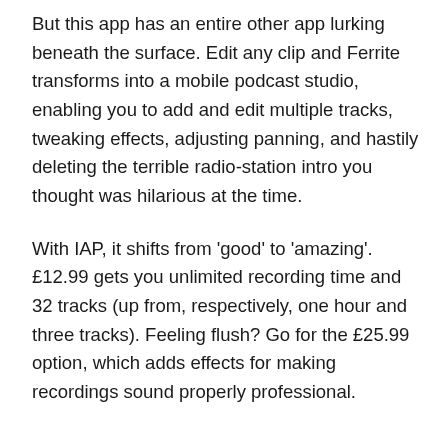But this app has an entire other app lurking beneath the surface. Edit any clip and Ferrite transforms into a mobile podcast studio, enabling you to add and edit multiple tracks, tweaking effects, adjusting panning, and hastily deleting the terrible radio-station intro you thought was hilarious at the time.
With IAP, it shifts from 'good' to 'amazing'. £12.99 gets you unlimited recording time and 32 tracks (up from, respectively, one hour and three tracks). Feeling flush? Go for the £25.99 option, which adds effects for making recordings sound properly professional.